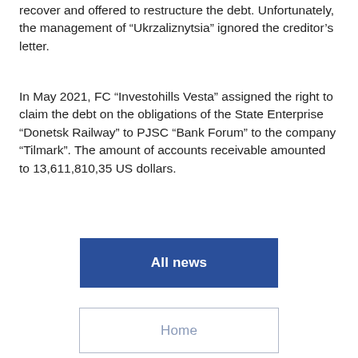recover and offered to restructure the debt. Unfortunately, the management of “Ukrzaliznytsia” ignored the creditor’s letter.
In May 2021, FC “Investohills Vesta” assigned the right to claim the debt on the obligations of the State Enterprise “Donetsk Railway” to PJSC “Bank Forum” to the company “Tilmark”. The amount of accounts receivable amounted to 13,611,810,35 US dollars.
All news
Home